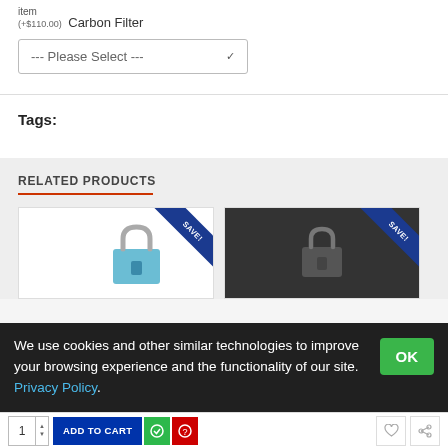item Carbon Filter (+$110.00)
--- Please Select ---
Tags:
RELATED PRODUCTS
[Figure (screenshot): Two product cards showing padlocks with blue 'SAVE!' ribbon banners in the top right corner]
We use cookies and other similar technologies to improve your browsing experience and the functionality of our site. Privacy Policy.
OK
1  ADD TO CART